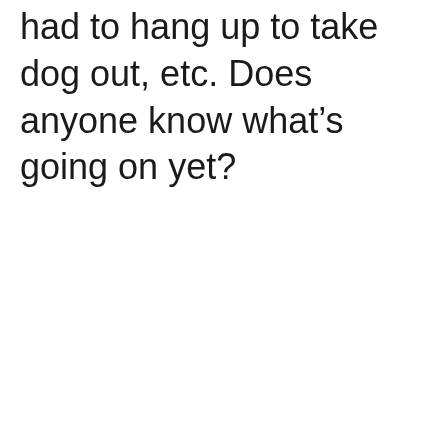had to hang up to take dog out, etc. Does anyone know what's going on yet?